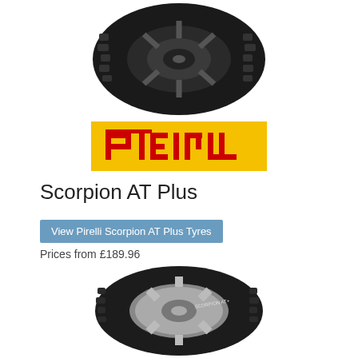[Figure (photo): Top view of a Pirelli Scorpion AT Plus all-terrain tyre, black, shown at an angle against white background]
[Figure (logo): Pirelli logo: yellow rectangle background with red PIRELLI text and stylized P emblem]
Scorpion AT Plus
View Pirelli Scorpion AT Plus Tyres
Prices from £189.96
[Figure (photo): Bottom portion of a Pirelli Scorpion AT Plus tyre with chrome wheel, showing tread pattern and sidewall markings]